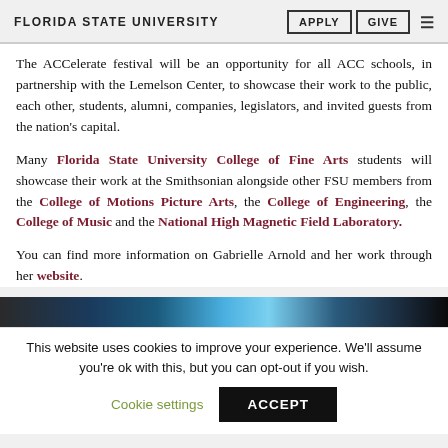FLORIDA STATE UNIVERSITY | APPLY | GIVE
The ACCelerate festival will be an opportunity for all ACC schools, in partnership with the Lemelson Center, to showcase their work to the public, each other, students, alumni, companies, legislators, and invited guests from the nation's capital.
Many Florida State University College of Fine Arts students will showcase their work at the Smithsonian alongside other FSU members from the College of Motions Picture Arts, the College of Engineering, the College of Music and the National High Magnetic Field Laboratory.
You can find more information on Gabrielle Arnold and her work through her website.
[Figure (photo): Decorative photo strip with blurred colorful bokeh lights in blue and teal tones against a dark background]
This website uses cookies to improve your experience. We'll assume you're ok with this, but you can opt-out if you wish.
Cookie settings | ACCEPT